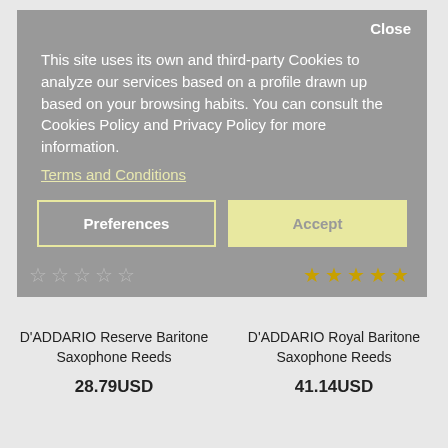Close
This site uses its own and third-party Cookies to analyze our services based on a profile drawn up based on your browsing habits. You can consult the Cookies Policy and Privacy Policy for more information.
Terms and Conditions
Preferences
Accept
D'ADDARIO Reserve Baritone Saxophone Reeds
28.79USD
D'ADDARIO Royal Baritone Saxophone Reeds
41.14USD